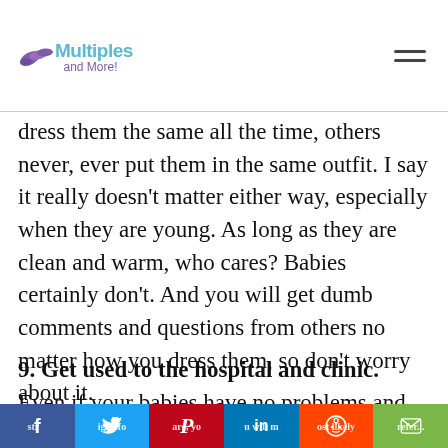Multiples and More!
dress them the same all the time, others never, ever put them in the same outfit. I say it really doesn't matter either way, especially when they are young. As long as they are clean and warm, who cares? Babies certainly don't. And you will get dumb comments and questions from others no matter how you dress them, so don't worry about it.
9. Get used to the hospital and clinic. Even if your babies have no problems and your pregnancy is straight-forward, you will most likely refer...
Social sharing bar: Facebook, Twitter, Pinterest, LinkedIn, Reddit, Email